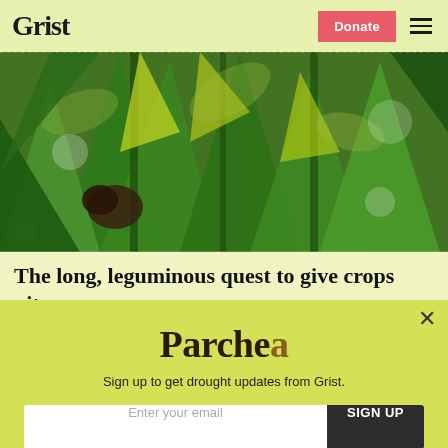Grist | Donate
[Figure (photo): Close-up photo of corn stalks with green leaves and a bird visible among the foliage]
The long, leguminous quest to give crops nitrogen superpowers
Parched
Sign up to get drought updates from Grist.
Enter your email
SIGN UP
No thanks